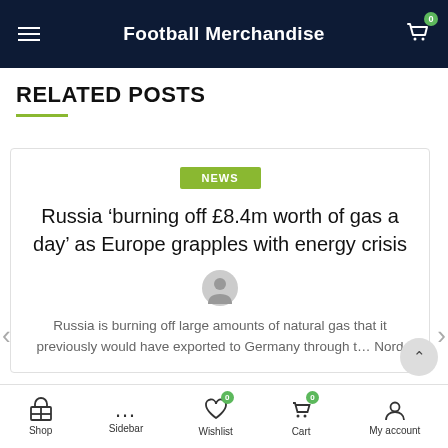Football Merchandise
RELATED POSTS
NEWS
Russia ‘burning off £8.4m worth of gas a day’ as Europe grapples with energy crisis
Russia is burning off large amounts of natural gas that it previously would have exported to Germany through the Nord
Shop | Sidebar | Wishlist | Cart | My account